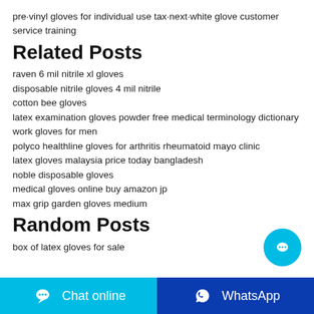pre·vinyl gloves for individual use tax·next·white glove customer service training
Related Posts
raven 6 mil nitrile xl gloves
disposable nitrile gloves 4 mil nitrile
cotton bee gloves
latex examination gloves powder free medical terminology dictionary
work gloves for men
polyco healthline gloves for arthritis rheumatoid mayo clinic
latex gloves malaysia price today bangladesh
noble disposable gloves
medical gloves online buy amazon jp
max grip garden gloves medium
Random Posts
box of latex gloves for sale
Chat online
WhatsApp